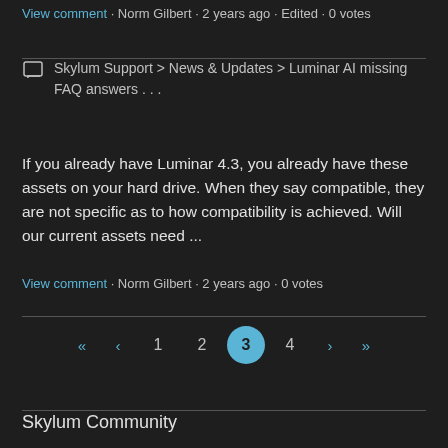View comment · Norm Gilbert · 2 years ago · Edited · 0 votes
Skylum Support > News & Updates > Luminar AI missing FAQ answers . . .
If you already have Luminar 4.3, you already have these assets on your hard drive. When they say compatible, they are not specific as to how compatibility is achieved. Will our current assets need ...
View comment · Norm Gilbert · 2 years ago · 0 votes
« ‹ 1 2 3 4 › »
Skylum Community